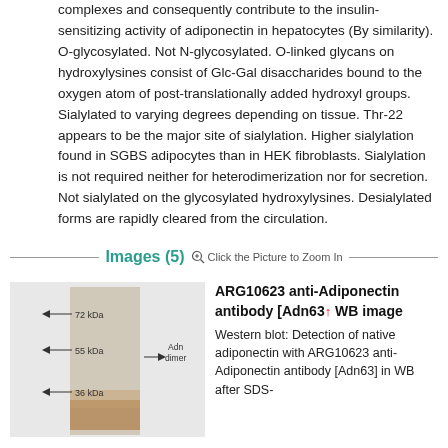complexes and consequently contribute to the insulin-sensitizing activity of adiponectin in hepatocytes (By similarity). O-glycosylated. Not N-glycosylated. O-linked glycans on hydroxylysines consist of Glc-Gal disaccharides bound to the oxygen atom of post-translationally added hydroxyl groups. Sialylated to varying degrees depending on tissue. Thr-22 appears to be the major site of sialylation. Higher sialylation found in SGBS adipocytes than in HEK fibroblasts. Sialylation is not required neither for heterodimerization nor for secretion. Not sialylated on the glycosylated hydroxylysines. Desialylated forms are rapidly cleared from the circulation.
Images (5)   Click the Picture to Zoom In
[Figure (photo): Western blot gel image showing Adn dimer band with molecular weight markers at 72 kDa, 55 kDa, and 36 kDa]
ARG10623 anti-Adiponectin antibody [Adn63] WB image
Western blot: Detection of native adiponectin with ARG10623 anti-Adiponectin antibody [Adn63] in WB after SDS-